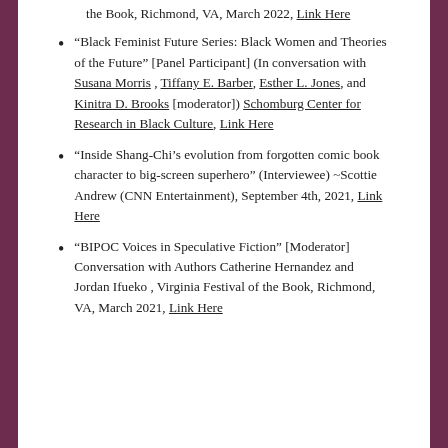the Book, Richmond, VA, March 2022, Link Here
“Black Feminist Future Series: Black Women and Theories of the Future” [Panel Participant] (In conversation with Susana Morris, Tiffany E. Barber, Esther L. Jones, and Kinitra D. Brooks [moderator]) Schomburg Center for Research in Black Culture, Link Here
“Inside Shang-Chi’s evolution from forgotten comic book character to big-screen superhero” (Interviewee) ~Scottie Andrew (CNN Entertainment), September 4th, 2021, Link Here
“BIPOC Voices in Speculative Fiction” [Moderator] Conversation with Authors Catherine Hernandez and Jordan Ifueko , Virginia Festival of the Book, Richmond, VA, March 2021, Link Here